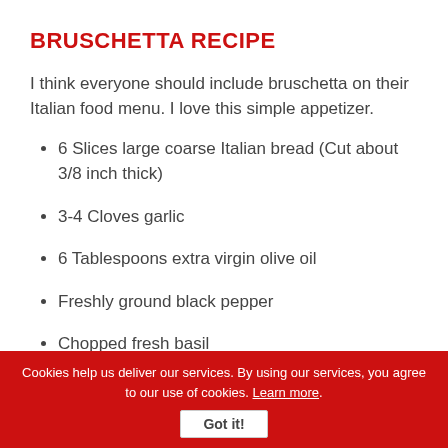BRUSCHETTA RECIPE
I think everyone should include bruschetta on their Italian food menu. I love this simple appetizer.
6 Slices large coarse Italian bread (Cut about 3/8 inch thick)
3-4 Cloves garlic
6 Tablespoons extra virgin olive oil
Freshly ground black pepper
Chopped fresh basil
Chopped fresh Roma tomatoes
Cookies help us deliver our services. By using our services, you agree to our use of cookies. Learn more. Got it!